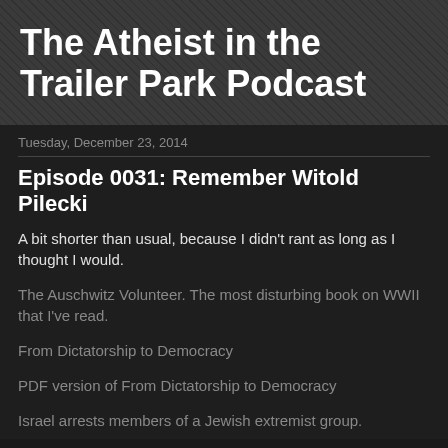The Atheist in the Trailer Park Podcast
Tuesday, December 23, 2014
Episode 0031: Remember Witold Pilecki
A bit shorter than usual, because I didn't rant as long as I thought I would.
The Auschwitz Volunteer. The most disturbing book on WWII that I've read.
From Dictatorship to Democracy
PDF version of From Dictatorship to Democracy
Israel arrests members of a Jewish extremist group.